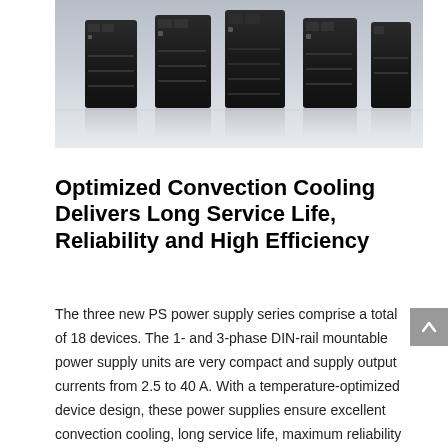[Figure (photo): Photo of multiple black PS series DIN-rail power supply units displayed on a reflective surface against a light grey background]
Optimized Convection Cooling Delivers Long Service Life, Reliability and High Efficiency
The three new PS power supply series comprise a total of 18 devices. The 1- and 3-phase DIN-rail mountable power supply units are very compact and supply output currents from 2.5 to 40 A. With a temperature-optimized device design, these power supplies ensure excellent convection cooling, long service life, maximum reliability and up to 96.3 % efficiency. The versatile PS series features a wide-range input and comes with a number of different